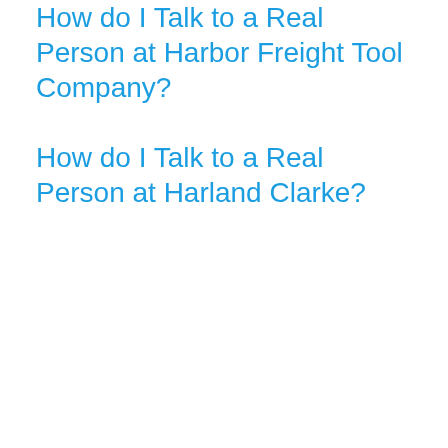How do I Talk to a Real Person at Harbor Freight Tool Company?
How do I Talk to a Real Person at Harland Clarke?